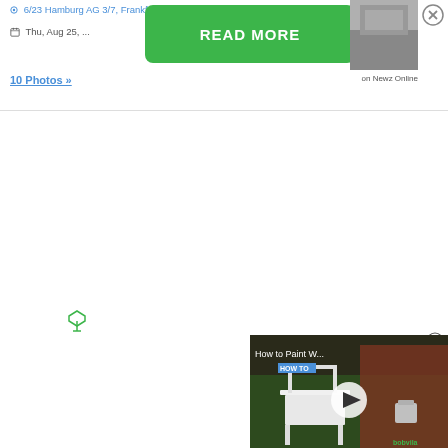6/23 Hamburg AG 3/7, Frankfurt, Alt 40 Tow...
Thu, Aug 25, ...
READ MORE
on Newz Online
10 Photos »
[Figure (screenshot): Small thumbnail image in top right corner]
[Figure (screenshot): Video overlay showing a painted chair with how-to label, play button, and bobvila branding. Title: How to Paint W...]
How to Paint W...
HOW TO
bobvila